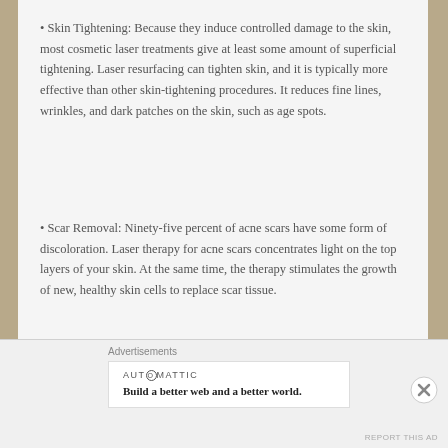• Skin Tightening: Because they induce controlled damage to the skin, most cosmetic laser treatments give at least some amount of superficial tightening. Laser resurfacing can tighten skin, and it is typically more effective than other skin-tightening procedures. It reduces fine lines, wrinkles, and dark patches on the skin, such as age spots.
• Scar Removal: Ninety-five percent of acne scars have some form of discoloration. Laser therapy for acne scars concentrates light on the top layers of your skin. At the same time, the therapy stimulates the growth of new, healthy skin cells to replace scar tissue.
Advertisements
AUTOMATTIC — Build a better web and a better world.